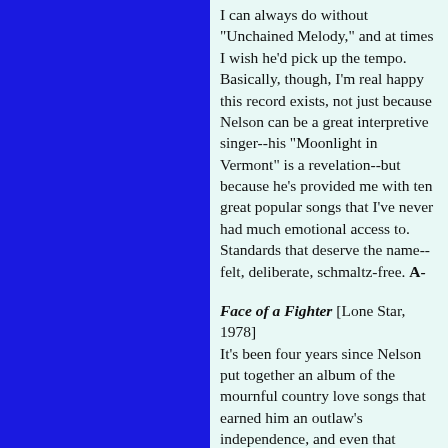I can always do without "Unchained Melody," and at times I wish he'd pick up the tempo. Basically, though, I'm real happy this record exists, not just because Nelson can be a great interpretive singer--his "Moonlight in Vermont" is a revelation--but because he's provided me with ten great popular songs that I've never had much emotional access to. Standards that deserve the name--felt, deliberate, schmaltz-free. A-
Face of a Fighter [Lone Star, 1978] It's been four years since Nelson put together an album of the mournful country love songs that earned him an outlaw's independence, and even that